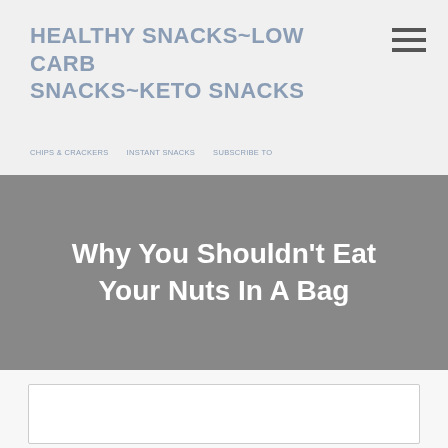HEALTHY SNACKS~LOW CARB SNACKS~KETO SNACKS
Why You Shouldn't Eat Your Nuts In A Bag
[Figure (other): White rectangular image placeholder with light gray border]